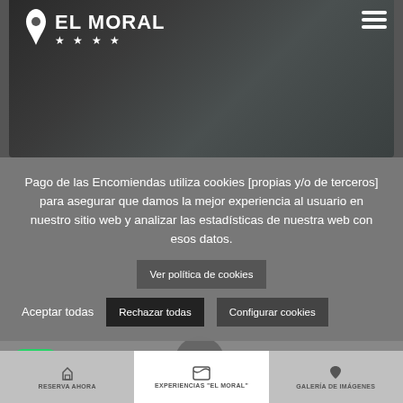[Figure (screenshot): Hotel El Moral website screenshot showing hero image with dark textured background, logo with star rating, hamburger menu, cookie consent banner, WhatsApp button, location pin, and bottom navigation bar]
EL MORAL ★★★★
Pago de las Encomiendas utiliza cookies [propias y/o de terceros] para asegurar que damos la mejor experiencia al usuario en nuestro sitio web y analizar las estadísticas de nuestra web con esos datos.
Ver política de cookies
Aceptar todas
Rechazar todas
Configurar cookies
RESERVA AHORA
EXPERIENCIAS "EL MORAL"
GALERÍA DE IMÁGENES